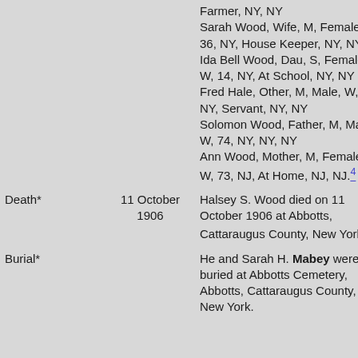| Event | Date | Description |
| --- | --- | --- |
|  |  | Farmer, NY, NY
Sarah Wood, Wife, M, Female, W, 36, NY, House Keeper, NY, NY
Ida Bell Wood, Dau, S, Female, W, 14, NY, At School, NY, NY
Fred Hale, Other, M, Male, W, 23, NY, Servant, NY, NY
Solomon Wood, Father, M, Male, W, 74, NY, NY, NY
Ann Wood, Mother, M, Female, W, 73, NJ, At Home, NJ, NJ.[4] |
| Death* | 11 October 1906 | Halsey S. Wood died on 11 October 1906 at Abbotts, Cattaraugus County, New York.[5] |
| Burial* |  | He and Sarah H. Mabey were buried at Abbotts Cemetery, Abbotts, Cattaraugus County, New York.[1] |